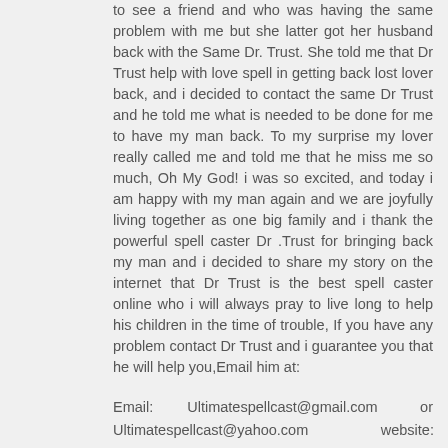to see a friend and who was having the same problem with me but she latter got her husband back with the Same Dr. Trust. She told me that Dr Trust help with love spell in getting back lost lover back, and i decided to contact the same Dr Trust and he told me what is needed to be done for me to have my man back. To my surprise my lover really called me and told me that he miss me so much, Oh My God! i was so excited, and today i am happy with my man again and we are joyfully living together as one big family and i thank the powerful spell caster Dr .Trust for bringing back my man and i decided to share my story on the internet that Dr Trust is the best spell caster online who i will always pray to live long to help his children in the time of trouble, If you have any problem contact Dr Trust and i guarantee you that he will help you,Email him at:
Email:        Ultimatespellcast@gmail.com        or Ultimatespellcast@yahoo.com                website: http://utimatespellcast.blogspot.com